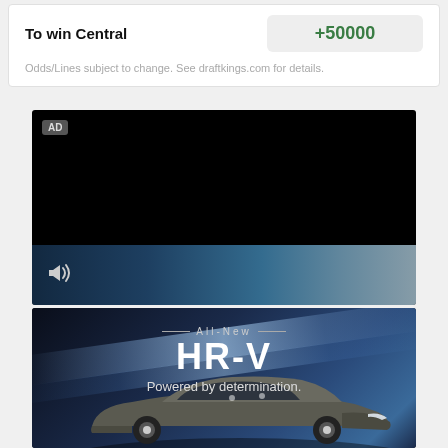| Label | Value |
| --- | --- |
| To win Central | +50000 |
Odds/Lines subject to change. See draftkings.com for details.
[Figure (screenshot): Video advertisement with AD badge and speaker icon, black background with blue gradient streak at bottom]
[Figure (photo): Honda HR-V advertisement. Text: All-New HR-V Powered by determination. Dark background with blue lighting streak and Honda HR-V SUV car visible at bottom.]